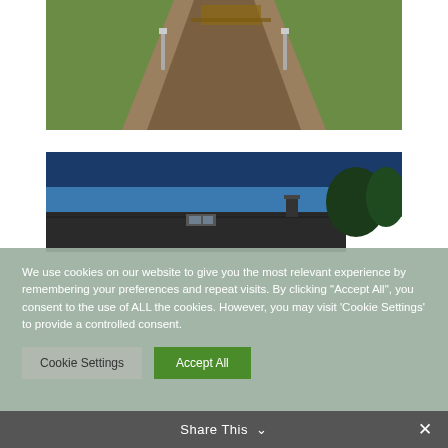[Figure (photo): Outdoor gravel or bark chip pathway with metal bollard lights on either side, flanked by green lawn, with wooden picnic table visible in background]
[Figure (photo): Low dark-roofed building with chimney stack against a deep blue sky, with trees visible to the right]
We use cookies on our website to give you the most relevant experience by remembering your preferences and repeat visits. By clicking "Accept All", you consent to the use of ALL the cookies. However, you may visit 'Cookie Settings' to provide a controlled consent.
Cookie Settings
Accept All
Share This ∨